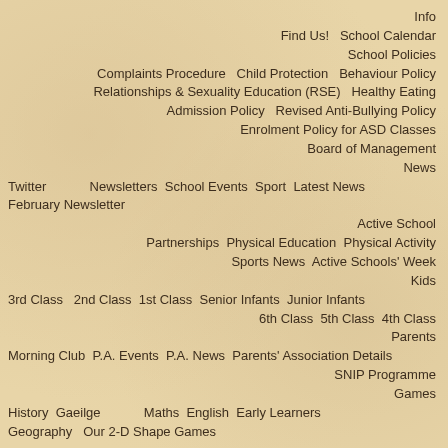Info
Find Us!   School Calendar
School Policies
Complaints Procedure   Child Protection   Behaviour Policy
Relationships & Sexuality Education (RSE)   Healthy Eating
Admission Policy   Revised Anti-Bullying Policy
Enrolment Policy for ASD Classes
Board of Management
News
Twitter   Newsletters   School Events   Sport   Latest News
February Newsletter
Active School
Partnerships   Physical Education   Physical Activity
Sports News   Active Schools' Week
Kids
3rd Class   2nd Class   1st Class   Senior Infants   Junior Infants
6th Class   5th Class   4th Class
Parents
Morning Club   P.A. Events   P.A. News   Parents' Association Details
SNIP Programme
Games
History   Gaeilge   Maths   English   Early Learners
Geography   Our 2-D Shape Games